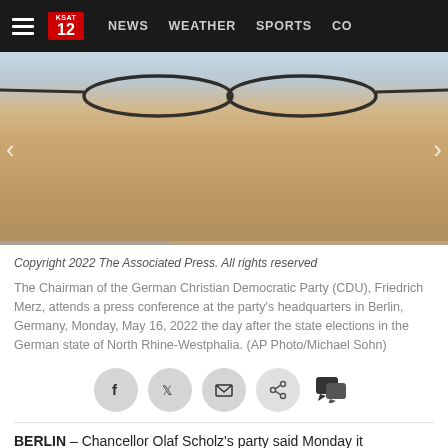NEWS | WEATHER | SPORTS | CO...
[Figure (photo): Close-up photo of Friedrich Merz, Chairman of the German Christian Democratic Party (CDU), wearing glasses, cropped showing face from eyes to chin against a light blue background.]
Copyright 2022 The Associated Press. All rights reserved
The Chairman of the German Christian Democratic Party (CDU), Friedrich Merz, attends a press conference at the party's headquarters in Berlin, Germany, Monday, May 16, 2022 the day after the state elections in the German state of North Rhine-Westphalia. (AP Photo/Michael Sohn)
BERLIN – Chancellor Olaf Scholz's party said Monday it